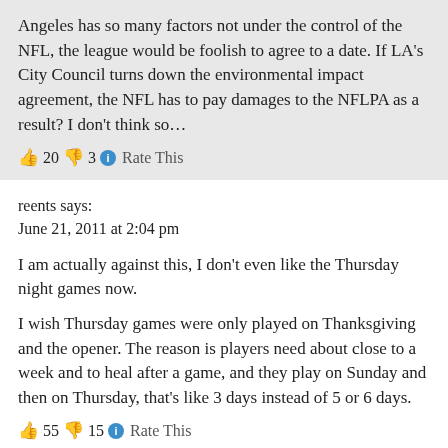Angeles has so many factors not under the control of the NFL, the league would be foolish to agree to a date. If LA's City Council turns down the environmental impact agreement, the NFL has to pay damages to the NFLPA as a result? I don't think so…
👍 20 👎 3 ℹ Rate This
reents says:
June 21, 2011 at 2:04 pm
I am actually against this, I don't even like the Thursday night games now.
I wish Thursday games were only played on Thanksgiving and the opener. The reason is players need about close to a week and to heal after a game, and they play on Sunday and then on Thursday, that's like 3 days instead of 5 or 6 days.
👍 55 👎 15 ℹ Rate This